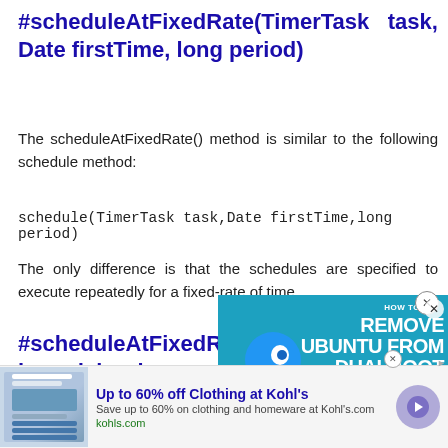#scheduleAtFixedRate(TimerTask task, Date firstTime, long period)
The scheduleAtFixedRate() method is similar to the following schedule method:
schedule(TimerTask task,Date firstTime,long period)
The only difference is that the schedules are specified to execute repeatedly for a fixed-rate of time.
#scheduleAtFixedRate( long delay, long period)
[Figure (screenshot): Advertisement overlay: 'Up to 60% off Clothing at Kohl's' with Kohl's logo and navigation button]
[Figure (screenshot): Video overlay: 'HOW TO REMOVE UBUNTU FROM DUALBOOT' on itsfoss.com with cartoon bird mascot]